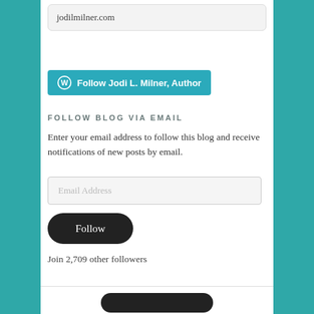jodilmilner.com
[Figure (screenshot): Follow Jodi L. Milner, Author button with WordPress icon on teal background]
FOLLOW BLOG VIA EMAIL
Enter your email address to follow this blog and receive notifications of new posts by email.
Email Address
Follow
Join 2,709 other followers